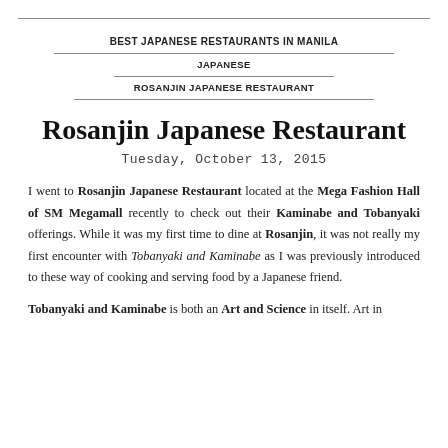BEST JAPANESE RESTAURANTS IN MANILA | JAPANESE | ROSANJIN JAPANESE RESTAURANT
Rosanjin Japanese Restaurant
Tuesday, October 13, 2015
I went to Rosanjin Japanese Restaurant located at the Mega Fashion Hall of SM Megamall recently to check out their Kaminabe and Tobanyaki offerings. While it was my first time to dine at Rosanjin, it was not really my first encounter with Tobanyaki and Kaminabe as I was previously introduced to these way of cooking and serving food by a Japanese friend.
Tobanyaki and Kaminabe is both an Art and Science in itself. Art in